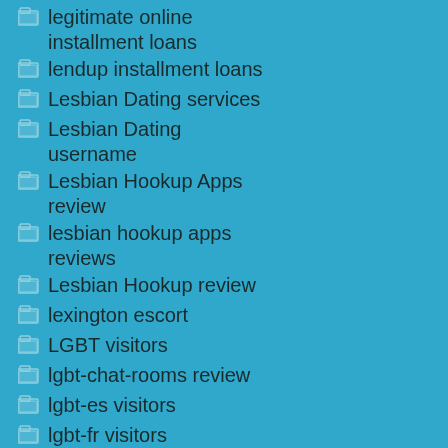legitimate online installment loans
lendup installment loans
Lesbian Dating services
Lesbian Dating username
Lesbian Hookup Apps review
lesbian hookup apps reviews
Lesbian Hookup review
lexington escort
LGBT visitors
lgbt-chat-rooms review
lgbt-es visitors
lgbt-fr visitors
lincoln escort